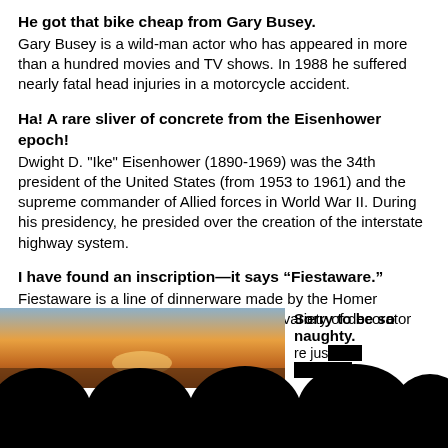He got that bike cheap from Gary Busey. Gary Busey is a wild-man actor who has appeared in more than a hundred movies and TV shows. In 1988 he suffered nearly fatal head injuries in a motorcycle accident.
Ha! A rare sliver of concrete from the Eisenhower epoch! Dwight D. "Ike" Eisenhower (1890-1969) was the 34th president of the United States (from 1953 to 1961) and the supreme commander of Allied forces in World War II. During his presidency, he presided over the creation of the interstate highway system.
I have found an inscription—it says “Fiestaware.” Fiestaware is a line of dinnerware made by the Homer Laughlin China Company. It comes in a variety of decorator colors and is highly prized by collectors.
Sorry to be so naughty.
[Figure (photo): Sunset or sunrise photo partially visible at bottom left, with dark audience silhouettes in foreground at the very bottom of the page.]